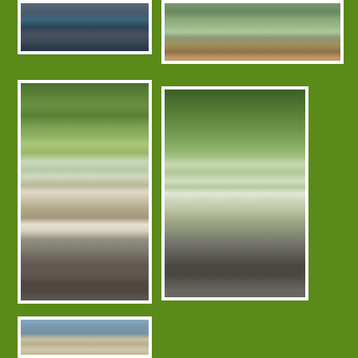[Figure (photo): Partial photo (top cropped) showing children near water, close-up from waist down]
[Figure (photo): Partial photo (top cropped) showing outdoor scene with trees and rocks near water]
[Figure (photo): Two children, one older girl in white shirt and jeans, one younger in pink shirt, standing by a pond with trees in background, fishing]
[Figure (photo): Adult woman bending over and young child crouching by pond shore with trees behind, examining something]
[Figure (photo): Young child in pink vest holding up a fishing rod/stick over water, looking up with open mouth smiling]